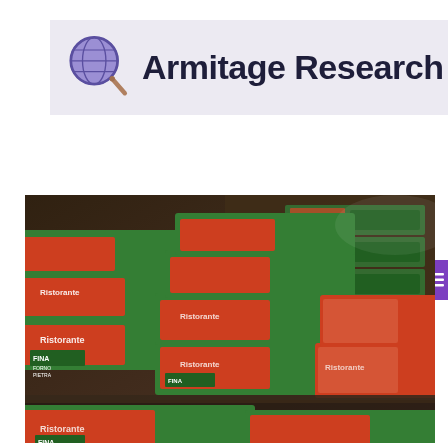[Figure (logo): Armitage Research logo: magnifying glass with globe icon on lavender background, bold dark navy text 'Armitage Research']
NAVIGATE
[Figure (photo): Refrigerator store shelf stacked with frozen pizza boxes (green packaging, brand Ristorante/Fina, stone oven style) viewed from an angle]